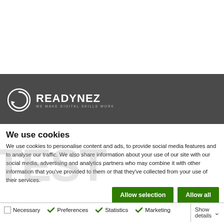[Figure (logo): Readynez logo with circular arrow icon and tagline WE MAKE DIGITAL SKILLS WORK on dark grey banner]
We use cookies
We use cookies to personalise content and ads, to provide social media features and to analyse our traffic. We also share information about your use of our site with our social media, advertising and analytics partners who may combine it with other information that you've provided to them or that they've collected from your use of their services.
Allow selection
Allow all
Necessary
Preferences
Statistics
Marketing
Show details